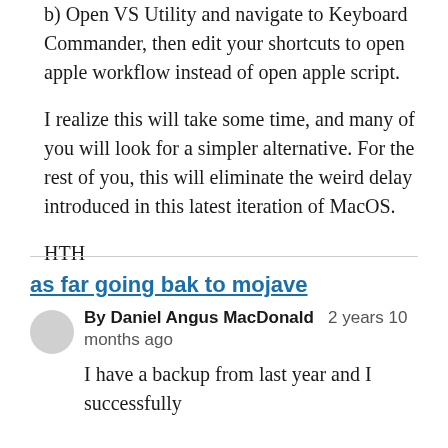b) Open VS Utility and navigate to Keyboard Commander, then edit your shortcuts to open apple workflow instead of open apple script.
I realize this will take some time, and many of you will look for a simpler alternative. For the rest of you, this will eliminate the weird delay introduced in this latest iteration of MacOS.
HTH
as far going bak to mojave
By Daniel Angus MacDonald   2 years 10 months ago
I have a backup from last year and I successfully